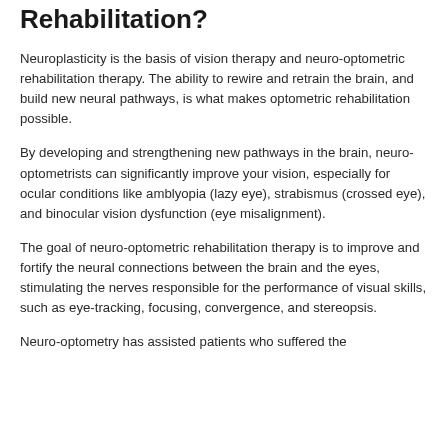Rehabilitation?
Neuroplasticity is the basis of vision therapy and neuro-optometric rehabilitation therapy. The ability to rewire and retrain the brain, and build new neural pathways, is what makes optometric rehabilitation possible.
By developing and strengthening new pathways in the brain, neuro-optometrists can significantly improve your vision, especially for ocular conditions like amblyopia (lazy eye), strabismus (crossed eye), and binocular vision dysfunction (eye misalignment).
The goal of neuro-optometric rehabilitation therapy is to improve and fortify the neural connections between the brain and the eyes, stimulating the nerves responsible for the performance of visual skills, such as eye-tracking, focusing, convergence, and stereopsis.
Neuro-optometry has assisted patients who suffered the